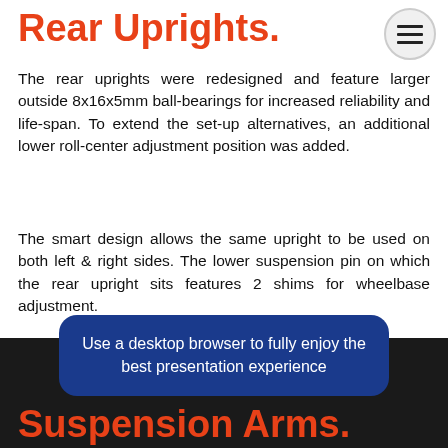Rear Uprights.
The rear uprights were redesigned and feature larger outside 8x16x5mm ball-bearings for increased reliability and life-span. To extend the set-up alternatives, an additional lower roll-center adjustment position was added.
The smart design allows the same upright to be used on both left & right sides. The lower suspension pin on which the rear upright sits features 2 shims for wheelbase adjustment.
The rear uprights feature integrated geometry adjustments including: camber, upper and lower roll center and wheelbase.
Use a desktop browser to fully enjoy the best presentation experience
Suspension Arms.